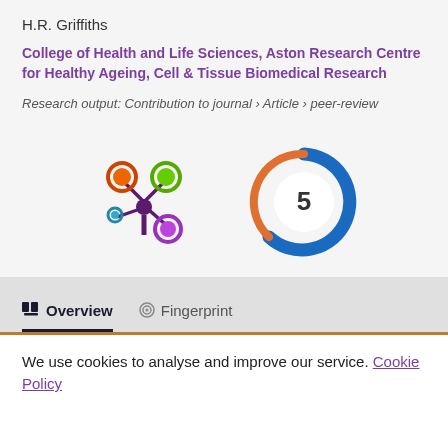H.R. Griffiths
College of Health and Life Sciences, Aston Research Centre for Healthy Ageing, Cell & Tissue Biomedical Research
Research output: Contribution to journal › Article › peer-review
[Figure (logo): Altmetric badge showing colorful flower-like logo with orange, green, blue, and purple circles]
[Figure (logo): Citation badge showing circular swirl logo with number 5 in the center]
Overview
Fingerprint
We use cookies to analyse and improve our service. Cookie Policy